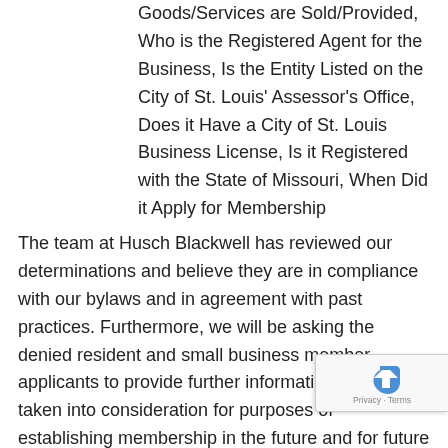Goods/Services are Sold/Provided, Who is the Registered Agent for the Business, Is the Entity Listed on the City of St. Louis' Assessor's Office, Does it Have a City of St. Louis Business License, Is it Registered with the State of Missouri, When Did it Apply for Membership
The team at Husch Blackwell has reviewed our determinations and believe they are in compliance with our bylaws and in agreement with past practices. Furthermore, we will be asking the denied resident and small business member applicants to provide further information that can be taken into consideration for purposes of establishing membership in the future and for future voting.